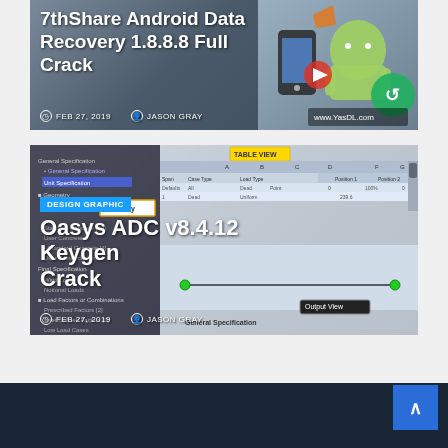[Figure (screenshot): 7thShare Android Data Recovery 1.8.8.8 Full Crack article card with dark background and colorful Android icons on right]
7thShare Android Data Recovery 1.8.8.8 Full Crack
FEB 27, 2019   JASON GRAY
[Figure (screenshot): Oasys ADC v8.4.12 Keygen Crack article card showing structural engineering software screenshot with DESIGN GRAPHIC badge and Gateway label]
Oasys ADC v8.4.12 Keygen Crack
FEB 27, 2019   JASON GRAY